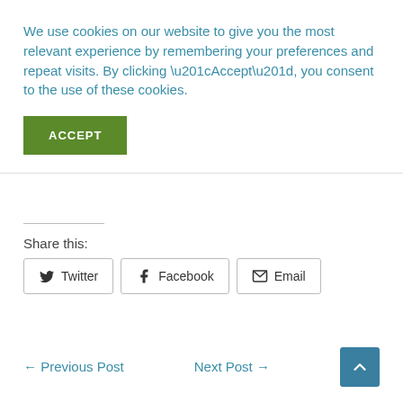We use cookies on our website to give you the most relevant experience by remembering your preferences and repeat visits. By clicking “Accept”, you consent to the use of these cookies.
ACCEPT
Share this:
Twitter
Facebook
Email
← Previous Post
Next Post →